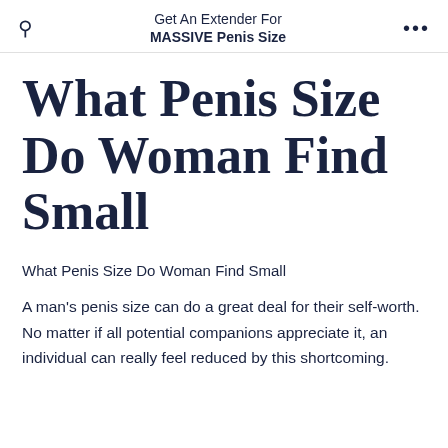Get An Extender For MASSIVE Penis Size
What Penis Size Do Woman Find Small
What Penis Size Do Woman Find Small
A man's penis size can do a great deal for their self-worth. No matter if all potential companions appreciate it, an individual can really feel reduced by this shortcoming.